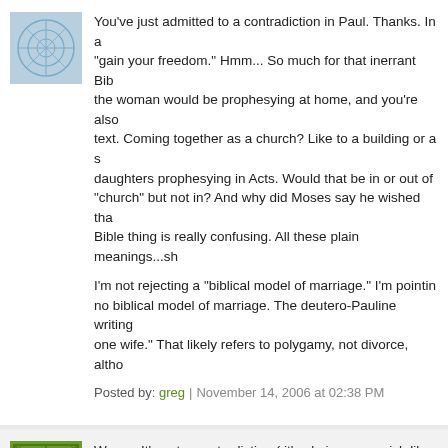You've just admitted to a contradiction in Paul. Thanks. In ... "gain your freedom." Hmm... So much for that inerrant Bib... the woman would be prophesying at home, and you're also... text. Coming together as a church? Like to a building or a s... daughters prophesying in Acts. Would that be in or out of... "church" but not in? And why did Moses say he wished tha... Bible thing is really confusing. All these plain meanings...sh...
I'm not rejecting a "biblical model of marriage." I'm pointin... no biblical model of marriage. The deutero-Pauline writing... one wife." That likely refers to polygamy, not divorce, altho...
Posted by: greg | November 14, 2006 at 02:38 PM
Wrong. It's not a contradiction ( it's obvious you wish like a... "Man, you need to look for another job." Then you add "Bu... another," that wouldn't be a contradiction at all.
Paul says "Work unto the Lord if you're a slave and if your... the road." Paul practices exactly what he preaches in Phile...
Why wouldn't the woman prophesy at home? Well, would...